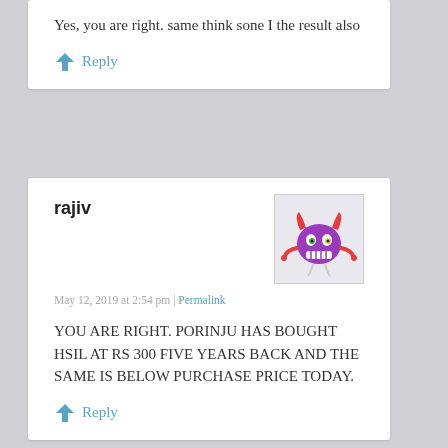Yes, you are right. same think sone I the result also
Reply
rajiv
[Figure (illustration): Avatar image of a cartoon purple monster with red horns and claws]
May 12, 2019 at 2:54 pm | Permalink
YOU ARE RIGHT. PORINJU HAS BOUGHT HSIL AT RS 300 FIVE YEARS BACK AND THE SAME IS BELOW PURCHASE PRICE TODAY.
Reply